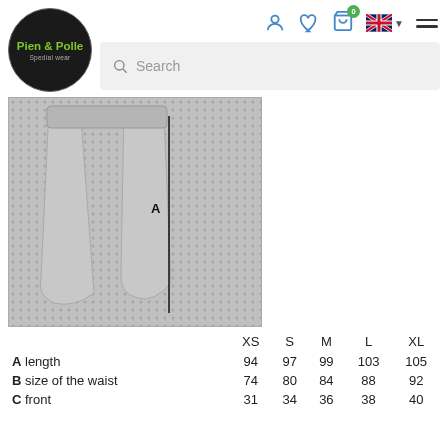[Figure (logo): Pien & Polle Spedial wear logo — circular black badge with green handwritten text]
[Figure (photo): Grey trousers/pants laid flat on a dotted fabric background, with a vertical black line marking measurement A along the outer leg seam]
|  | XS | S | M | L | XL |
| --- | --- | --- | --- | --- | --- |
| A length | 94 | 97 | 99 | 103 | 105 |
| B size of the waist | 74 | 80 | 84 | 88 | 92 |
| C front | 31 | 34 | 36 | 38 | 40 |